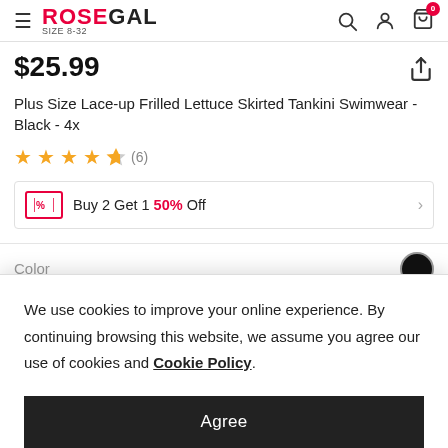ROSEGAL SIZE 8-32 — navigation bar with search, account, and cart icons
$25.99
Plus Size Lace-up Frilled Lettuce Skirted Tankini Swimwear - Black - 4x
★★★★½ (6)
Buy 2 Get 1 50% Off
Color
We use cookies to improve your online experience. By continuing browsing this website, we assume you agree our use of cookies and Cookie Policy.
Agree